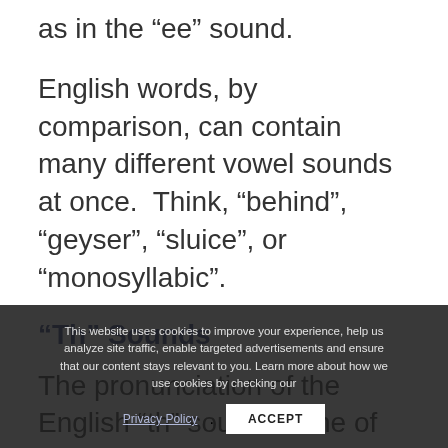as in the “ee” sound.
English words, by comparison, can contain many different vowel sounds at once.  Think, “behind”, “geyser”, “sluice”, or “monosyllabic”.
“Th” Sounds
The pronunciation of the English “th” sound is one of the hardest sounds for many ESL students.
There are two “th” sounds in English, the voiced dental fricative as in “this”, and the voiceless…
This website uses cookies to improve your experience, help us analyze site traffic, enable targeted advertisements and ensure that our content stays relevant to you. Learn more about how we use cookies by checking our Privacy Policy. ACCEPT